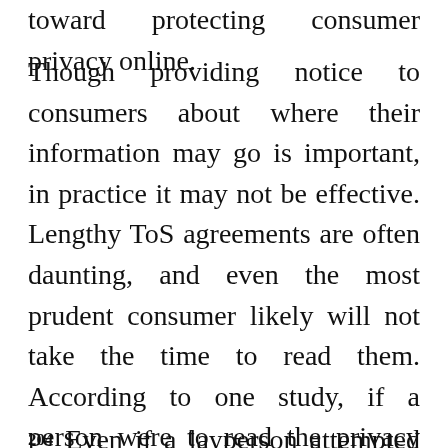toward protecting consumer privacy online.
Though providing notice to consumers about where their information may go is important, in practice it may not be effective. Lengthy ToS agreements are often daunting, and even the most prudent consumer likely will not take the time to read them. According to one study, if a person were to read the privacy policies of the websites she visits in a year, it would take her 244 hours to do.203 Clearly, reading privacy policies is not a practical thing to do.
204 Even if a layperson attempted to read a